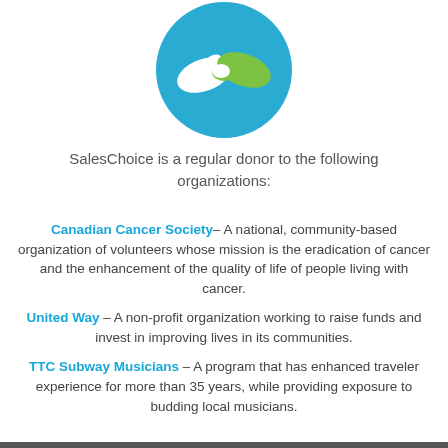[Figure (illustration): Blue circular icon with two green and white hands shaking]
SalesChoice is a regular donor to the following organizations:
Canadian Cancer Society– A national, community-based organization of volunteers whose mission is the eradication of cancer and the enhancement of the quality of life of people living with cancer.
United Way – A non-profit organization working to raise funds and invest in improving lives in its communities.
TTC Subway Musicians – A program that has enhanced traveler experience for more than 35 years, while providing exposure to budding local musicians.